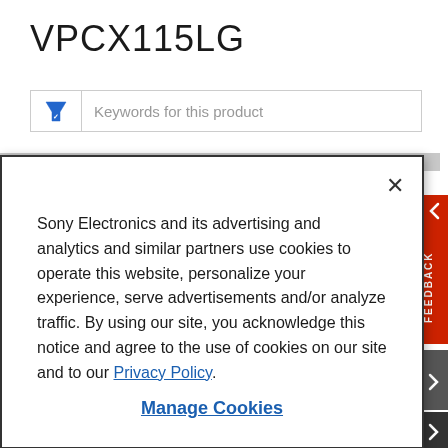VPCX115LG
[Figure (screenshot): Search/filter bar with funnel icon and placeholder text 'Keywords for this product']
Sony Electronics and its advertising and analytics and similar partners use cookies to operate this website, personalize your experience, serve advertisements and/or analyze traffic. By using our site, you acknowledge this notice and agree to the use of cookies on our site and to our Privacy Policy.
Manage Cookies